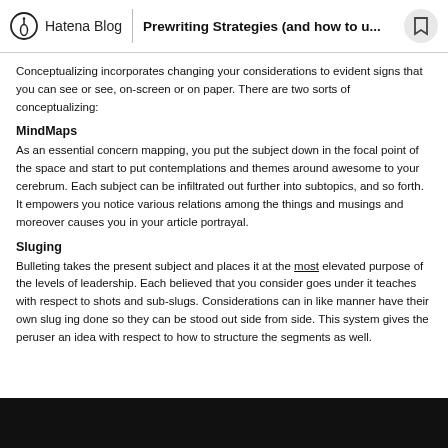Hatena Blog | Prewriting Strategies (and how to u...
Conceptualizing incorporates changing your considerations to evident signs that you can see or see, on-screen or on paper. There are two sorts of conceptualizing:
MindMaps
As an essential concern mapping, you put the subject down in the focal point of the space and start to put contemplations and themes around awesome to your cerebrum. Each subject can be infiltrated out further into subtopics, and so forth. It empowers you notice various relations among the things and musings and moreover causes you in your article portrayal.
Sluging
Bulleting takes the present subject and places it at the most elevated purpose of the levels of leadership. Each believed that you consider goes under it teaches with respect to shots and sub-slugs. Considerations can in like manner have their own slug ing done so they can be stood out side from side. This system gives the peruser an idea with respect to how to structure the segments as well.